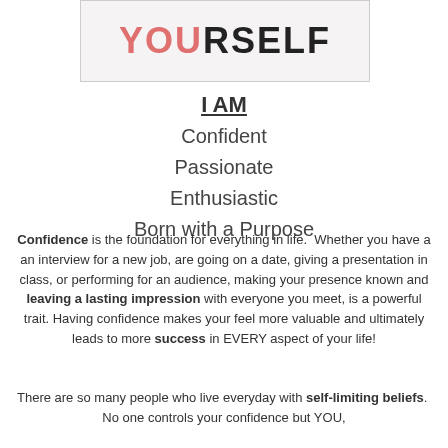[Figure (illustration): Partial book cover or image showing text 'YOURSELF' with some letters in red/pink and some in black, on a light beige background with a border]
I AM
Confident
Passionate
Enthusiastic
Born with a Purpose
Confidence is the foundation for everything in life. Whether you have a an interview for a new job, are going on a date, giving a presentation in class, or performing for an audience, making your presence known and leaving a lasting impression with everyone you meet, is a powerful trait. Having confidence makes your feel more valuable and ultimately leads to more success in EVERY aspect of your life!
There are so many people who live everyday with self-limiting beliefs. No one controls your confidence but YOU,